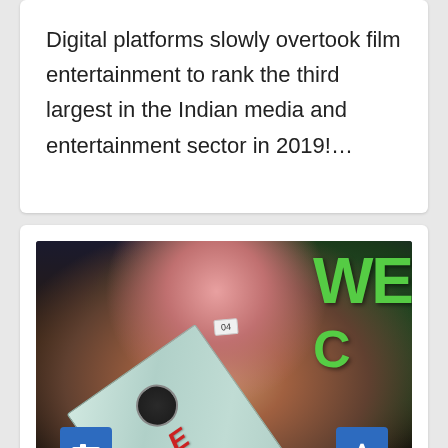Digital platforms slowly overtook film entertainment to rank the third largest in the Indian media and entertainment sector in 2019!…
[Figure (photo): A woman wearing a pageant sash with a logo, standing in front of a dark background with green lettering partially visible ('WE...'). She has long auburn hair and is wearing a necklace. The sash has a circular logo and red lettering. A number badge '04' is visible. Blue camera button at bottom-left and blue scroll-up button at bottom-right.]